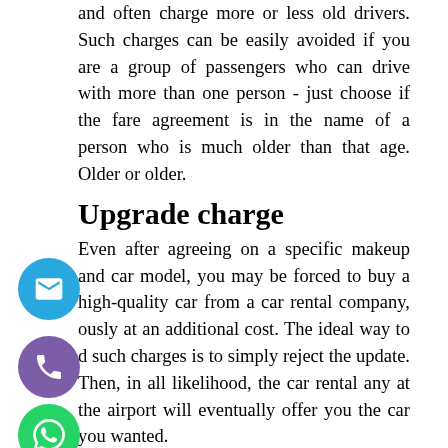and often charge more or less old drivers. Such charges can be easily avoided if you are a group of passengers who can drive with more than one person - just choose if the fare agreement is in the name of a person who is much older than that age. Older or older.
Upgrade charge
Even after agreeing on a specific makeup and car model, you may be forced to buy a high-quality car from a car rental company, ously at an additional cost. The ideal way to d such charges is to simply reject the update. Then, in all likelihood, the car rental any at the airport will eventually offer you the car you wanted.
arges of a late return
addition to agreement in the rental agreement, these charges are levied in case of